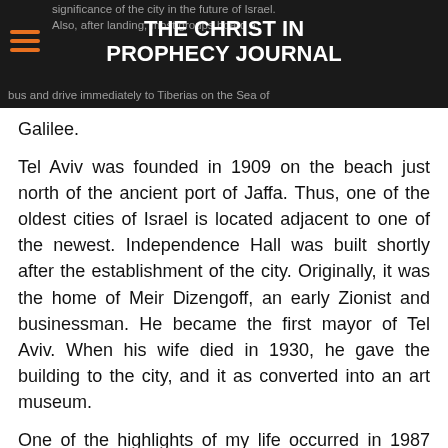THE CHRIST IN PROPHECY JOURNAL
significance of the city in the future of Israel.

Also, after landing, most groups board a bus and drive immediately to Tiberias on the Sea of Galilee.
Tel Aviv was founded in 1909 on the beach just north of the ancient port of Jaffa. Thus, one of the oldest cities of Israel is located adjacent to one of the newest. Independence Hall was built shortly after the establishment of the city. Originally, it was the home of Meir Dizengoff, an early Zionist and businessman. He became the first mayor of Tel Aviv. When his wife died in 1930, he gave the building to the city, and it as converted into an art museum.
One of the highlights of my life occurred in 1987 when I went to Israel to shoot our first video album about Israel in Bible prophecy. I was granted permission to stand in the exact spot in Independence Hall where David Ben-